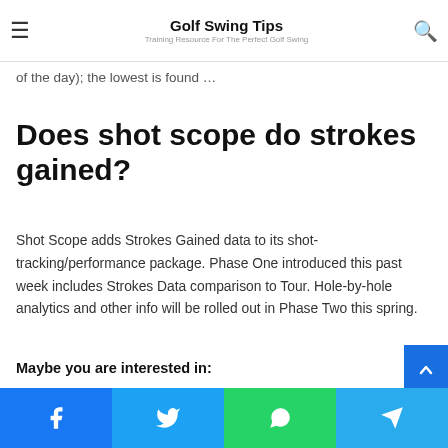Golf Swing Tips — Training Resource For The Perfect Golf Swing
of the day); the lowest is found …
Does shot scope do strokes gained?
Shot Scope adds Strokes Gained data to its shot-tracking/performance package. Phase One introduced this past week includes Strokes Data comparison to Tour. Hole-by-hole analytics and other info will be rolled out in Phase Two this spring.
Maybe you are interested in: